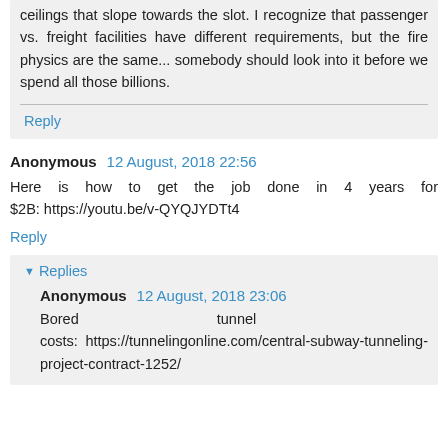ceilings that slope towards the slot. I recognize that passenger vs. freight facilities have different requirements, but the fire physics are the same... somebody should look into it before we spend all those billions.
Reply
Anonymous 12 August, 2018 22:56
Here is how to get the job done in 4 years for $2B: https://youtu.be/v-QYQJYDTt4
Reply
Replies
Anonymous 12 August, 2018 23:06
Bored tunnel costs: https://tunnelingonline.com/central-subway-tunneling-project-contract-1252/